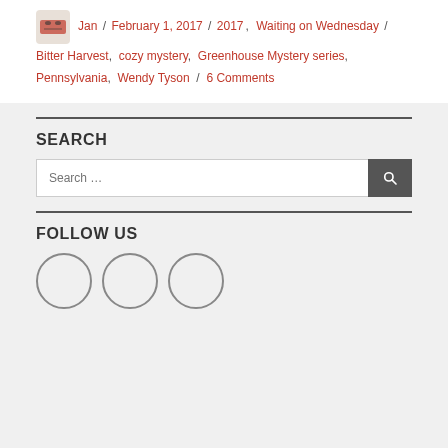Jan / February 1, 2017 / 2017, Waiting on Wednesday / Bitter Harvest, cozy mystery, Greenhouse Mystery series, Pennsylvania, Wendy Tyson / 6 Comments
SEARCH
Search ...
FOLLOW US
[Figure (illustration): Three empty social media icon circles]